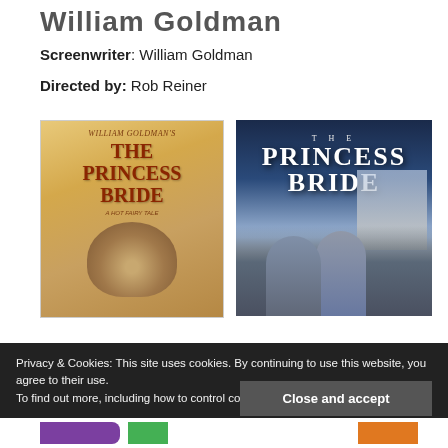William Goldman
Screenwriter: William Goldman
Directed by: Rob Reiner
[Figure (photo): Left: book cover of William Goldman's The Princess Bride. Right: movie poster of The Princess Bride directed by Rob Reiner.]
Privacy & Cookies: This site uses cookies. By continuing to use this website, you agree to their use.
To find out more, including how to control cookies, see here: Our Cookie Policy
Close and accept